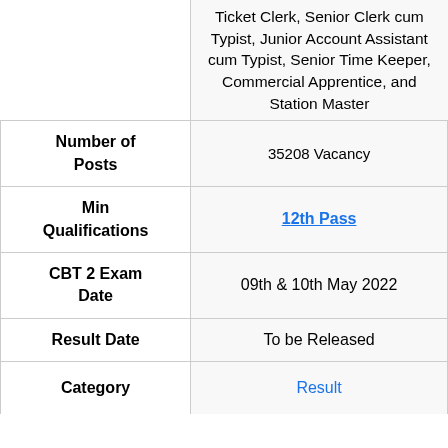| Field | Value |
| --- | --- |
|  | Ticket Clerk, Senior Clerk cum Typist, Junior Account Assistant cum Typist, Senior Time Keeper, Commercial Apprentice, and Station Master |
| Number of Posts | 35208 Vacancy |
| Min Qualifications | 12th Pass |
| CBT 2 Exam Date | 09th & 10th May 2022 |
| Result Date | To be Released |
| Category | Result |